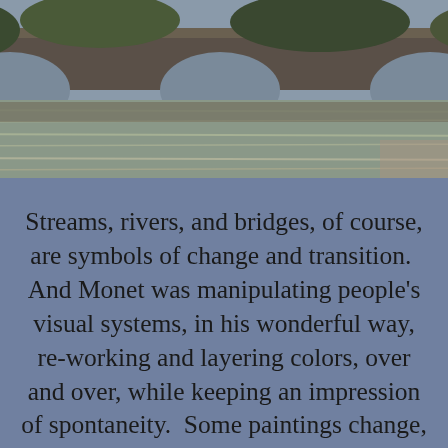[Figure (photo): Partial view of a Monet impressionist painting showing a bridge over water with reflections, muted colors of brown, green, and grey tones.]
Streams, rivers, and bridges, of course, are symbols of change and transition.  And Monet was manipulating people's visual systems, in his wonderful way, re-working and layering colors, over and over, while keeping an impression of spontaneity.  Some paintings change, as you continue to